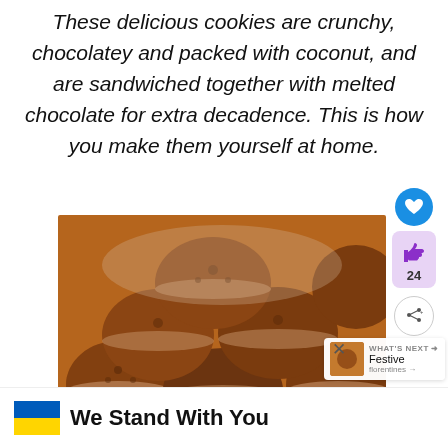These delicious cookies are crunchy, chocolatey and packed with coconut, and are sandwiched together with melted chocolate for extra decadence. This is how you make them yourself at home.
[Figure (photo): Pile of chocolate sandwich cookies on a white plate, viewed close up]
[Figure (screenshot): UI overlay with heart button (blue circle), thumbs up with count 24 in purple area, share button]
[Figure (screenshot): What's Next bar with festive label and thumbnail]
[Figure (screenshot): Ad banner with Ukraine flag and text 'We Stand With You']